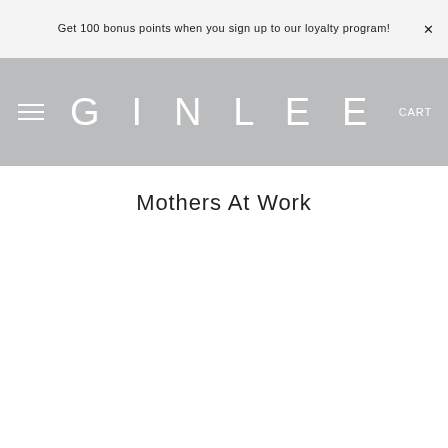Get 100 bonus points when you sign up to our loyalty program!
GINLEE  CART
Mothers At Work